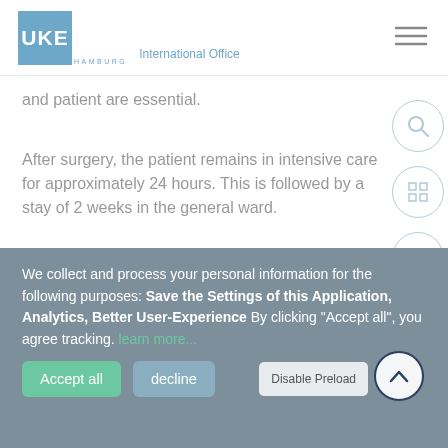UKE International Office
and patient are essential.
After surgery, the patient remains in intensive care for approximately 24 hours. This is followed by a stay of 2 weeks in the general ward.
Depending on the pathological examination and the surgery results achieved, additional systemic chemotherapy is necessary in some cases. Therefore, we discuss each
We collect and process your personal information for the following purposes: Save the Settings of this Application, Analytics, Better User-Experience By clicking "Accept all", you agree tracking. learn more...